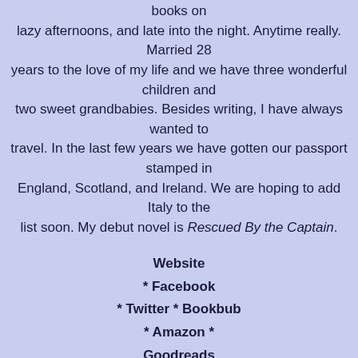books on lazy afternoons, and late into the night. Anytime really. Married 28 years to the love of my life and we have three wonderful children and two sweet grandbabies. Besides writing, I have always wanted to travel. In the last few years we have gotten our passport stamped in England, Scotland, and Ireland. We are hoping to add Italy to the list soon. My debut novel is Rescued By the Captain.
Website
* Facebook
* Twitter * Bookbub
* Amazon *
Goodreads